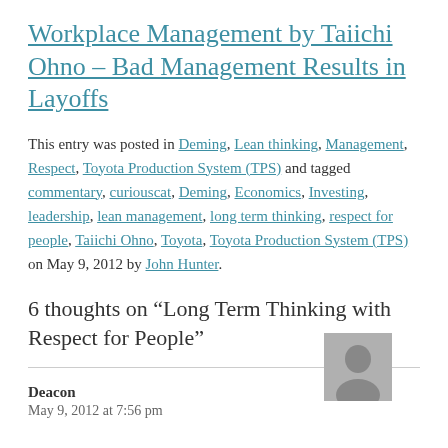Workplace Management by Taiichi Ohno – Bad Management Results in Layoffs
This entry was posted in Deming, Lean thinking, Management, Respect, Toyota Production System (TPS) and tagged commentary, curiouscat, Deming, Economics, Investing, leadership, lean management, long term thinking, respect for people, Taiichi Ohno, Toyota, Toyota Production System (TPS) on May 9, 2012 by John Hunter.
6 thoughts on “Long Term Thinking with Respect for People”
Deacon
May 9, 2012 at 7:56 pm